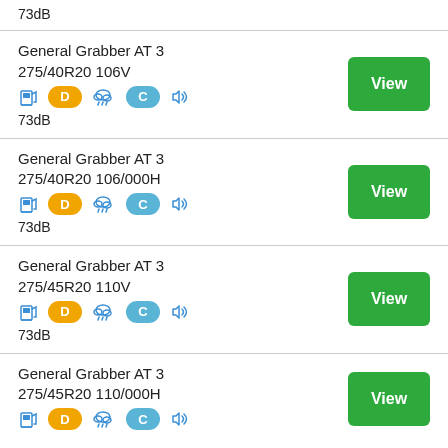73dB
General Grabber AT 3 275/40R20 106V — D, C, 73dB — View
General Grabber AT 3 275/40R20 106/000H — D, C, 73dB — View
General Grabber AT 3 275/45R20 110V — D, C, 73dB — View
General Grabber AT 3 275/45R20 110/000H — View